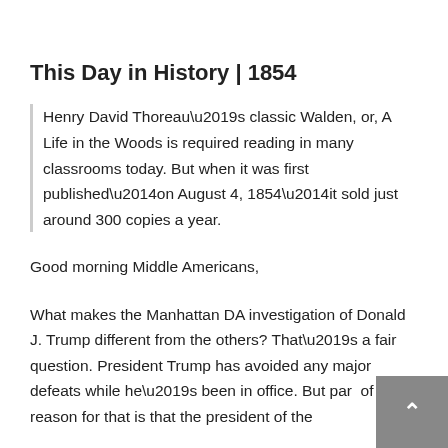This Day in History | 1854
Henry David Thoreau’s classic Walden, or, A Life in the Woods is required reading in many classrooms today. But when it was first published—on August 4, 1854—it sold just around 300 copies a year.
Good morning Middle Americans,
What makes the Manhattan DA investigation of Donald J. Trump different from the others? That’s a fair question. President Trump has avoided any major defeats while he’s been in office. But part of the reason for that is that the president of the